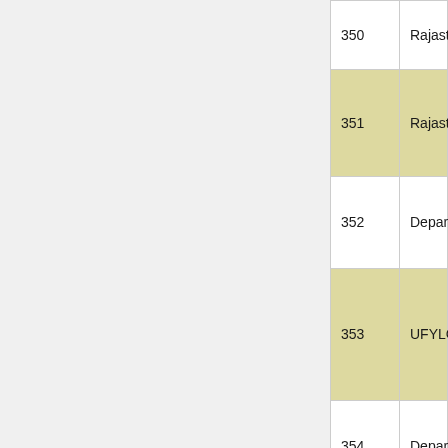| # | Name |
| --- | --- |
| 350 | Rajasthan |
| 351 | Rajasthan |
| 352 | Department |
| 353 | UFYLC |
| 354 | Department |
| 355 | Chief ward |
| 356 | Department Physical E |
| 357 | Exam |